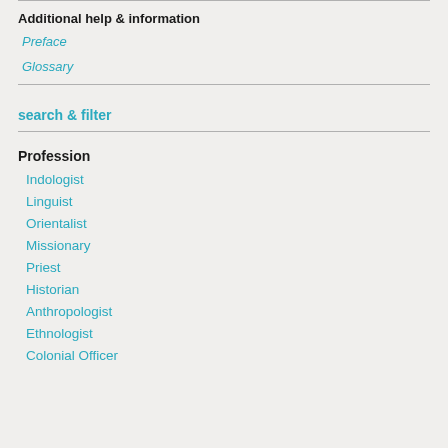Additional help & information
Preface
Glossary
search & filter
Profession
Indologist
Linguist
Orientalist
Missionary
Priest
Historian
Anthropologist
Ethnologist
Colonial Officer